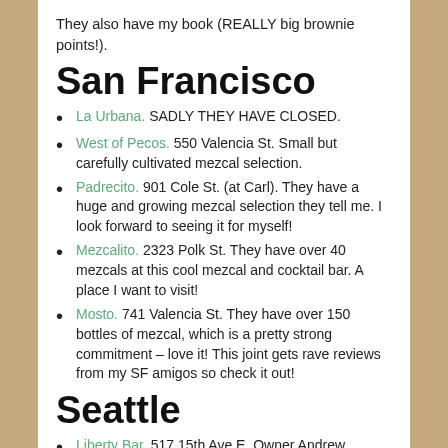They also have my book (REALLY big brownie points!).
San Francisco
La Urbana.  SADLY THEY HAVE CLOSED.
West of Pecos.  550 Valencia St.  Small but carefully cultivated mezcal selection.
Padrecito.  901 Cole St. (at Carl).  They have a huge and growing mezcal selection they tell me.  I look forward to seeing it for myself!
Mezcalito.  2323 Polk St.  They have over 40 mezcals at this cool mezcal and cocktail bar.  A place I want to visit!
Mosto.  741 Valencia St.  They have over 150 bottles of mezcal, which is a pretty strong commitment – love it!  This joint gets rave reviews from my SF amigos so check it out!
Seattle
Liberty Bar.  517 15th Ave E.  Owner Andrew Friedman goes deep on mezcal and tequila.